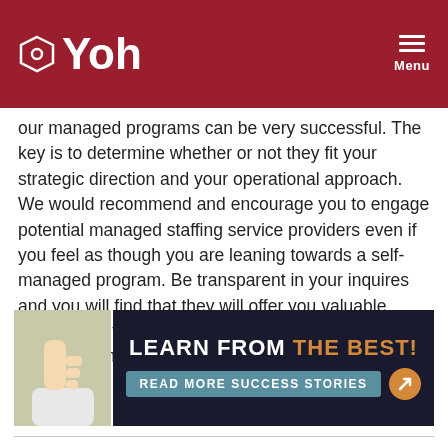Yoh — Menu
...our managed programs can be very successful. The key is to determine whether or not they fit your strategic direction and your operational approach. We would recommend and encourage you to engage potential managed staffing service providers even if you feel as though you are leaning towards a self-managed program. Be transparent in your inquires and you will find that they will offer you valuable perspective that will help you make the right decision for your company.
[Figure (infographic): Banner with thumbs-up image on left and dark background panel on right reading 'LEARN FROM THE BEST! READ MORE SUCCESS STORIES' with an orange arrow button.]
Staff Management,   Managed Solutions
RELATED POSTS